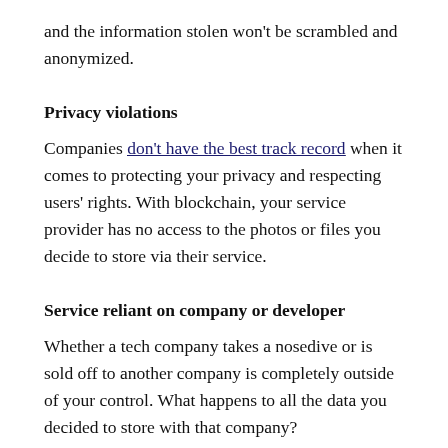and the information stolen won't be scrambled and anonymized.
Privacy violations
Companies don't have the best track record when it comes to protecting your privacy and respecting users' rights. With blockchain, your service provider has no access to the photos or files you decide to store via their service.
Service reliant on company or developer
Whether a tech company takes a nosedive or is sold off to another company is completely outside of your control. What happens to all the data you decided to store with that company?